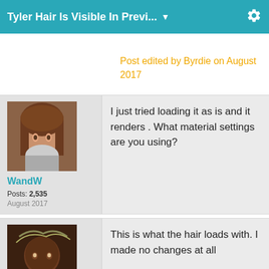Tyler Hair Is Visible In Previ... ▼
Post edited by Byrdie on August 2017
[Figure (photo): Avatar image of a 3D rendered female character with brown hair, used as forum user profile picture for WandW]
WandW
Posts: 2,535
August 2017
I just tried loading it as is and it renders .  What material settings are you using?
[Figure (photo): Avatar image of a 3D rendered male character with dark skin, partially visible at the bottom of the page]
This is what the hair loads with. I made no changes at all